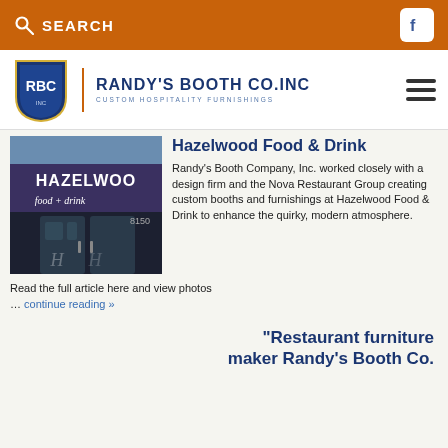SEARCH  [Facebook icon]
[Figure (logo): Randy's Booth Co. Inc logo with RBC shield and text 'CUSTOM HOSPITALITY FURNISHINGS']
[Figure (photo): Hazelwood Food & Drink restaurant exterior sign]
Hazelwood Food & Drink
Randy's Booth Company, Inc. worked closely with a design firm and the Nova Restaurant Group creating custom booths and furnishings at Hazelwood Food & Drink to enhance the quirky, modern atmosphere.  Read the full article here and view photos
… continue reading »
“Restaurant furniture maker Randy’s Booth Co.